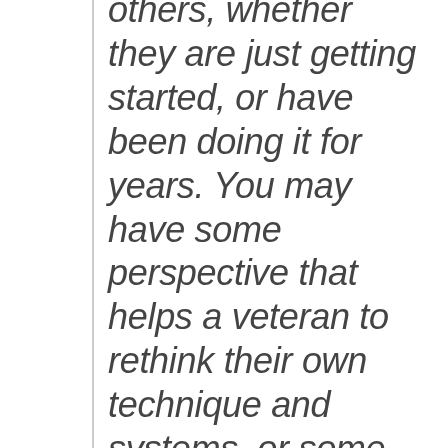others, whether they are just getting started, or have been doing it for years. You may have some perspective that helps a veteran to rethink their own technique and systems, or some that help a fellow podcaster finally clear a big hurdle they've been struggling with.